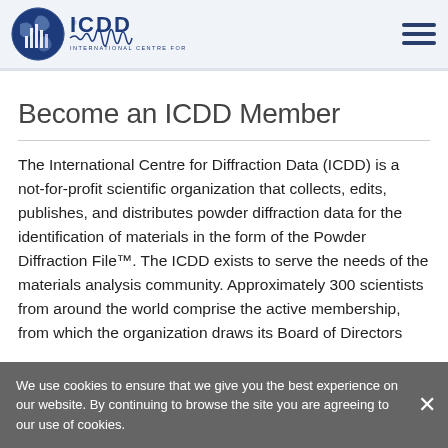ICDD - International Centre for Diffraction Data
Become an ICDD Member
The International Centre for Diffraction Data (ICDD) is a not-for-profit scientific organization that collects, edits, publishes, and distributes powder diffraction data for the identification of materials in the form of the Powder Diffraction File™. The ICDD exists to serve the needs of the materials analysis community. Approximately 300 scientists from around the world comprise the active membership, from which the organization draws its Board of Directors
We use cookies to ensure that we give you the best experience on our website. By continuing to browse the site you are agreeing to our use of cookies.